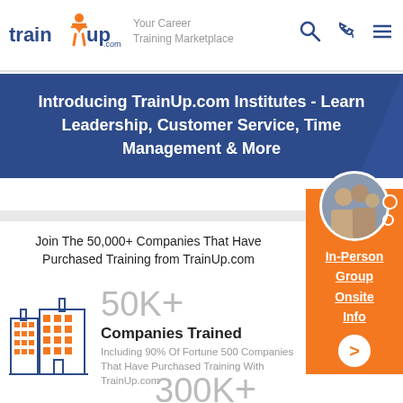[Figure (logo): TrainUp.com logo with orange X figure and blue text]
Your Career Training Marketplace
Introducing TrainUp.com Institutes - Learn Leadership, Customer Service, Time Management & More
Join The 50,000+ Companies That Have Purchased Training from TrainUp.com
[Figure (illustration): Orange and blue building/city icon]
50K+
Companies Trained
Including 90% Of Fortune 500 Companies That Have Purchased Training With TrainUp.com
[Figure (photo): Circular photo of group of people, with orange side panel showing In-Person Group Onsite Info links]
300K+